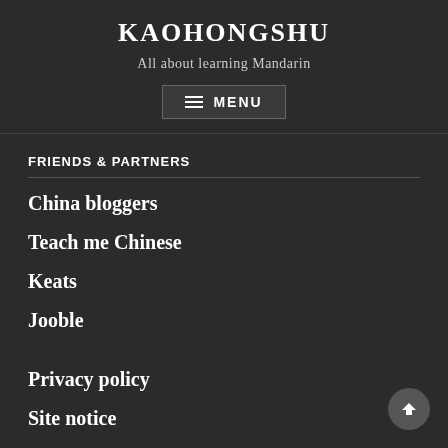KAOHONGSHU
All about learning Mandarin
FRIENDS & PARTNERS
China bloggers
Teach me Chinese
Keats
Jooble
Privacy policy
Site notice
Contact